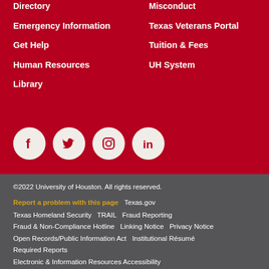Directory
Emergency Information
Get Help
Human Resources
Library
Misconduct
Texas Veterans Portal
Tuition & Fees
UH System
[Figure (illustration): Social media icons: Facebook, Twitter, Instagram, LinkedIn — white icons on cream/beige circular backgrounds]
©2022 University of Houston. All rights reserved.
Report a problem with this page   Texas.gov
Texas Homeland Security   TRAIL   Fraud Reporting
Fraud & Non-Compliance Hotline   Linking Notice   Privacy Notice
Open Records/Public Information Act   Institutional Résumé
Required Reports
Electronic & Information Resources Accessibility
Discrimination and Sexual Misconduct Reporting and Awareness
University Policies